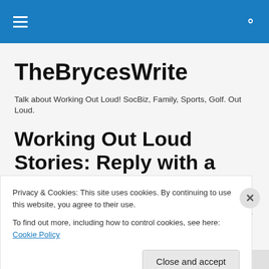TheBrycesWrite — navigation bar with hamburger menu and search icon
TheBrycesWrite
Talk about Working Out Loud! SocBiz, Family, Sports, Golf. Out Loud.
Working Out Loud Stories: Reply with a Link Instead
When I consult with people at work, trying my best to
Privacy & Cookies: This site uses cookies. By continuing to use this website, you agree to their use.
To find out more, including how to control cookies, see here: Cookie Policy
Close and accept